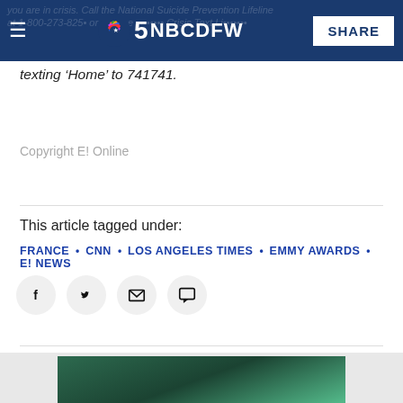NBC5 NBCDFW — You are in crisis. Call the National Suicide Prevention Lifeline at 1-800-273-8255 or use the Crisis Text Line by texting 'Home' to 741741. SHARE
texting ‘Home’ to 741741.
Copyright E! Online
This article tagged under:
FRANCE • CNN • LOS ANGELES TIMES • EMMY AWARDS • E! NEWS
[Figure (screenshot): Two people (a woman and a man) standing in a jungle/forest setting, used as article thumbnail image]